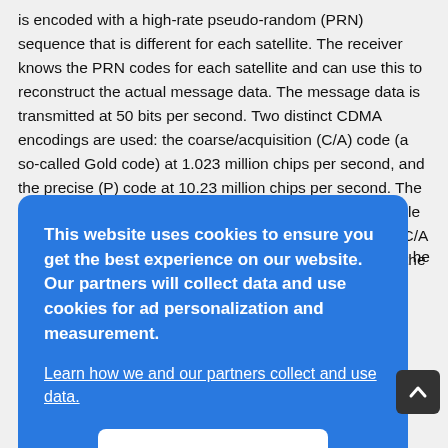is encoded with a high-rate pseudo-random (PRN) sequence that is different for each satellite. The receiver knows the PRN codes for each satellite and can use this to reconstruct the actual message data. The message data is transmitted at 50 bits per second. Two distinct CDMA encodings are used: the coarse/acquisition (C/A) code (a so-called Gold code) at 1.023 million chips per second, and the precise (P) code at 10.23 million chips per second. The L1 carrier is modulated by both the C/A and P codes, while the L2 carrier is only modulated by the P code. [36] The C/A code is public and used by civilian GPS receivers, while the
[Figure (screenshot): Cookie consent modal dialog with blue background. Text reads: 'This website uses cookies to ensure you get the best experience on our website. Our partners will collect data and use cookies for ad personalization and measurement.' with a link 'Learn how we and our partners collect and use data.' and an OK button.]
Block III satellites. L2 (1227.60 MHz): P(Y) code, plus the new L2C code